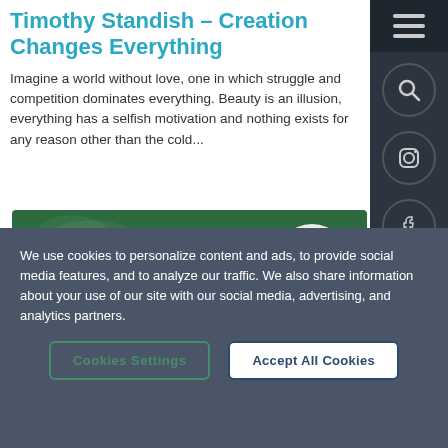Timothy Standish – Creation Changes Everything
Imagine a world without love, one in which struggle and competition dominates everything. Beauty is an illusion, everything has a selfish motivation and nothing exists for any reason other than the cold...
[Figure (illustration): Green book/article card with decorative circles, a circular badge reading 'Faith, Reason & Earth History', and bold white text reading 'Discussing creation']
We use cookies to personalize content and ads, to provide social media features, and to analyze our traffic. We also share information about your use of our site with our social media, advertising, and analytics partners.
Cookies Settings
Accept All Cookies